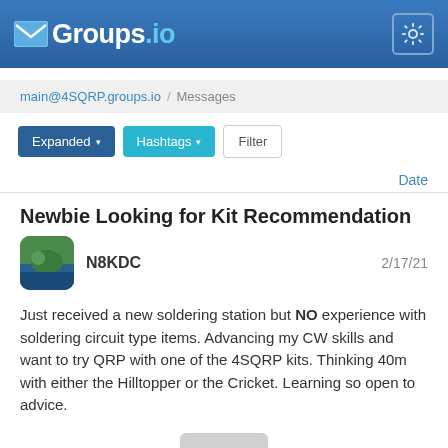Groups.io
main@4SQRP.groups.io / Messages
Expanded ▾   Hashtags ▾   Filter
Date
Newbie Looking for Kit Recommendation
N8KDC    2/17/21
Just received a new soldering station but NO experience with soldering circuit type items. Advancing my CW skills and want to try QRP with one of the 4SQRP kits. Thinking 40m with either the Hilltopper or the Cricket. Learning so open to advice.